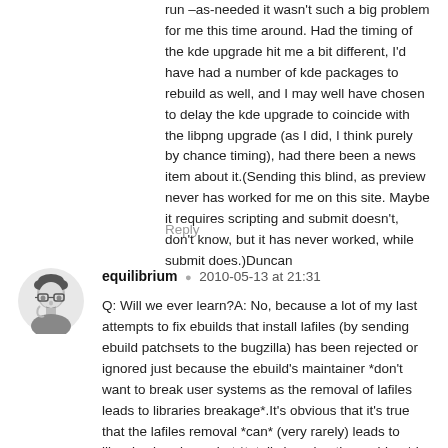run –as-needed it wasn't such a big problem for me this time around. Had the timing of the kde upgrade hit me a bit different, I'd have had a number of kde packages to rebuild as well, and I may well have chosen to delay the kde upgrade to coincide with the libpng upgrade (as I did, I think purely by chance timing), had there been a news item about it.(Sending this blind, as preview never has worked for me on this site. Maybe it requires scripting and submit doesn't, don't know, but it has never worked, while submit does.)Duncan
Reply
[Figure (illustration): User avatar illustration of a person with glasses and short curly hair, black and white sketch style]
equilibrium  2010-05-13 at 21:31
Q: Will we ever learn?A: No, because a lot of my last attempts to fix ebuilds that install lafiles (by sending ebuild patchsets to the bugzilla) has been rejected or ignored just because the ebuild's maintainer *don't want to break user systems as the removal of lafiles leads to libraries breakage*.It's obvious that it's true that the lafiles removal *can* (very rarely) leads to libraries breakage, but *totally ignoring the problem* is leading to libraries breakage too as reported by you :Dso what is the advantage to be so conservative with the *.la problems?